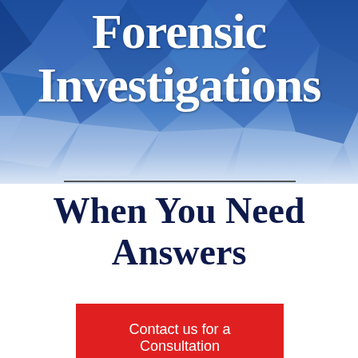[Figure (illustration): Blue geometric low-poly polygon background pattern covering the top portion of the page]
Forensic Investigations
When You Need Answers
Contact us for a Consultation